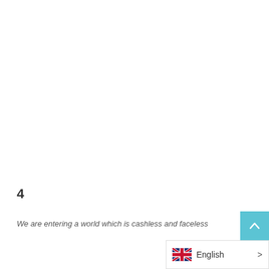4
We are entering a world which is cashless and faceless
[Figure (other): Language selector bar showing UK flag and English label with right arrow, plus a teal scroll-to-top button with upward chevron]